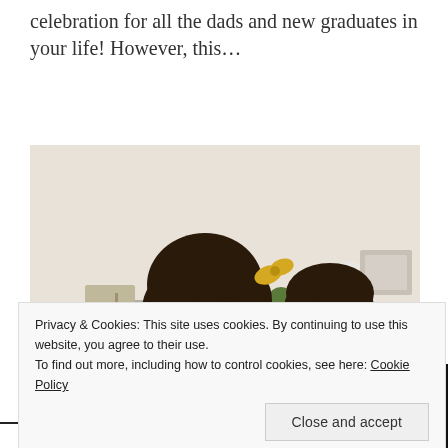celebration for all the dads and new graduates in your life! However, this…
[Figure (photo): A woman with curly hair and a yellow bow leaning affectionately toward a young child in a kitchen setting. The woman is wearing a mustard/ochre sweater and hugging the child.]
Privacy & Cookies: This site uses cookies. By continuing to use this website, you agree to their use.
To find out more, including how to control cookies, see here: Cookie Policy
Close and accept
GIFTS, HOLIDAYS, FASHION